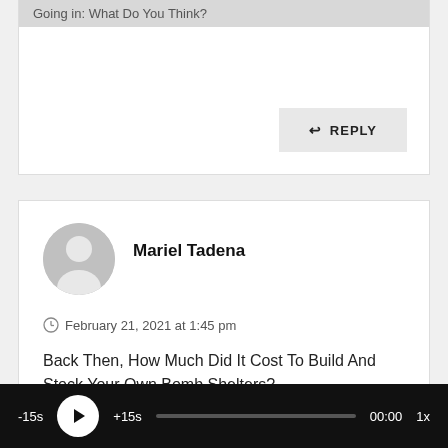Going in: What Do You Think?
REPLY
Mariel Tadena
February 21, 2021 at 1:45 pm
Back Then, How Much Did It Cost To Build And Stock Your Own Bomb Shelters?
REPLY
-15s +15s 00:00 1x